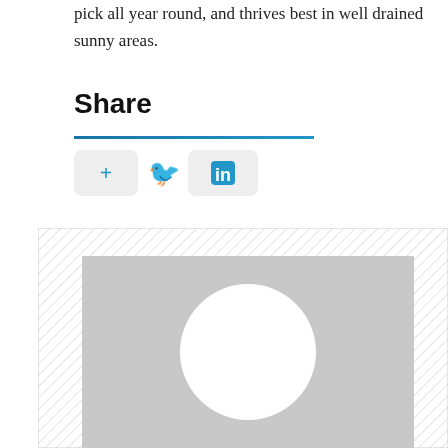pick all year round, and thrives best in well drained sunny areas.
Share
[Figure (screenshot): Social share buttons: plus button, Twitter bird icon, LinkedIn icon button]
[Figure (photo): Placeholder image with grey background and white circle in center, surrounded by hatched border pattern]